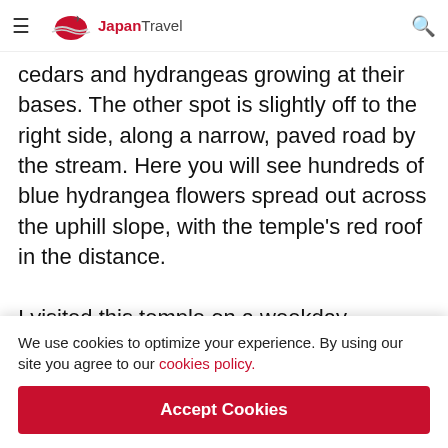Japan Travel
cedars and hydrangeas growing at their bases. The other spot is slightly off to the right side, along a narrow, paved road by the stream. Here you will see hundreds of blue hydrangea flowers spread out across the uphill slope, with the temple's red roof in the distance.
I visited this temple on a weekday morning in July and not only was it the perfect time to see the flowers, but nobody else [obscured by cookie banner] That will like [obscured] Iiyama Touri[sm] [obscured] anticipation [obscured] Shinkansen, [obscured] tourism these will bring to the area. They have been
We use cookies to optimize your experience. By using our site you agree to our cookies policy.
Accept Cookies